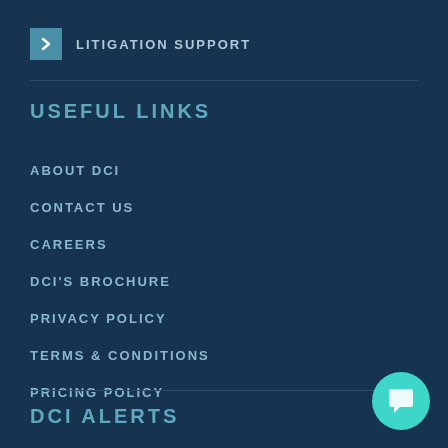LITIGATION SUPPORT
USEFUL LINKS
ABOUT DCI
CONTACT US
CAREERS
DCI'S BROCHURE
PRIVACY POLICY
TERMS & CONDITIONS
PRICING POLICY
DCI ALERTS
[Figure (illustration): Teal circular chat bubble icon in bottom right corner]